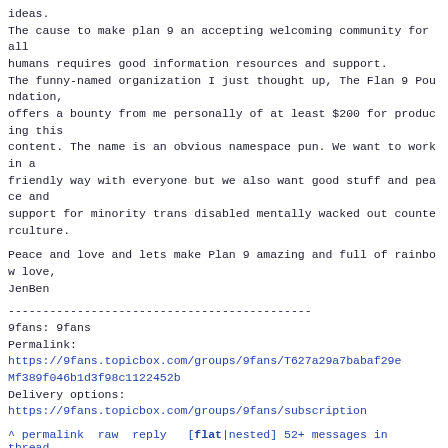ideas.
The cause to make plan 9 an accepting welcoming community for all
humans requires good information resources and support.
The funny-named organization I just thought up, The Flan 9 Poundation,
offers a bounty from me personally of at least $200 for producing this
content. The name is an obvious namespace pun. We want to work in a
friendly way with everyone but we also want good stuff and peace and
support for minority trans disabled mentally wacked out counterculture.
Peace and love and lets make Plan 9 amazing and full of rainbow love,
JenBen
--------------------------------------------
9fans: 9fans
Permalink:
https://9fans.topicbox.com/groups/9fans/T627a29a7babaf29e
Mf389f046b1d3f98c1122452b
Delivery options:
https://9fans.topicbox.com/groups/9fans/subscription
^ permalink raw reply  [flat|nested] 52+ messages in thread